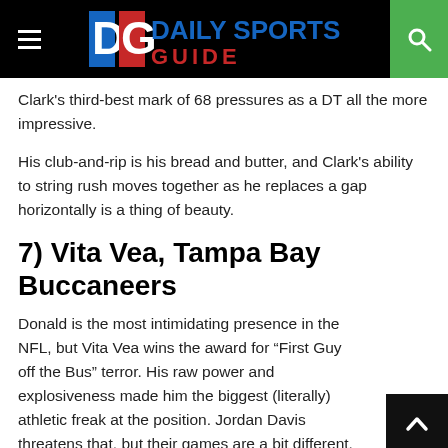Daily Sports Guide
Clark’s third-best mark of 68 pressures as a DT all the more impressive.
His club-and-rip is his bread and butter, and Clark’s ability to string rush moves together as he replaces a gap horizontally is a thing of beauty.
7) Vita Vea, Tampa Bay Buccaneers
Donald is the most intimidating presence in the NFL, but Vita Vea wins the award for “First Guy off the Bus” terror. His raw power and explosiveness made him the biggest (literally) athletic freak at the position. Jordan Davis threatens that, but their games are a bit different.